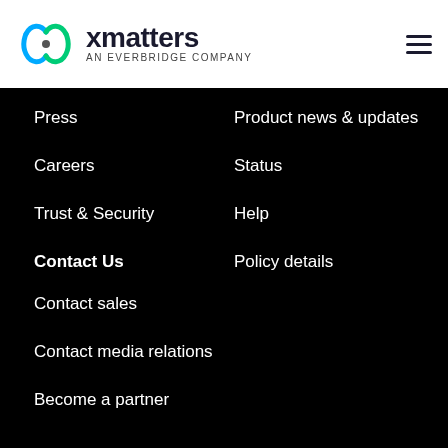[Figure (logo): xMatters an Everbridge Company logo with stylized X icon in blue and green]
Press
Careers
Trust & Security
Product news & updates
Status
Help
Policy details
Contact Us
Contact sales
Contact media relations
Become a partner